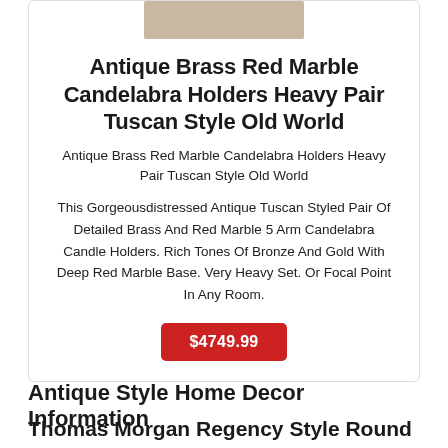[Figure (photo): Partial photo of antique brass red marble candelabra holders at top of card]
Antique Brass Red Marble Candelabra Holders Heavy Pair Tuscan Style Old World
Antique Brass Red Marble Candelabra Holders Heavy Pair Tuscan Style Old World
This Gorgeousdistressed Antique Tuscan Styled Pair Of Detailed Brass And Red Marble 5 Arm Candelabra Candle Holders. Rich Tones Of Bronze And Gold With Deep Red Marble Base. Very Heavy Set. Or Focal Point In Any Room.
$4749.99
Antique Style Home Decor Information
Thomas Morgan Regency Style Round